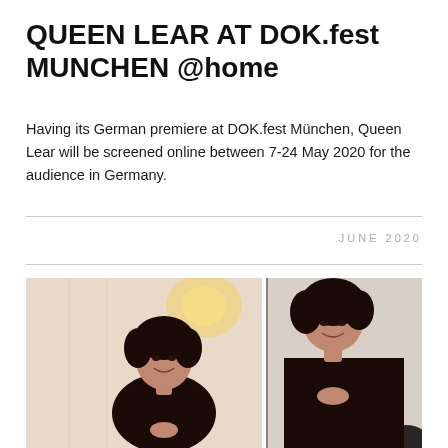QUEEN LEAR AT DOK.fest MUNCHEN @home
Having its German premiere at DOK.fest München, Queen Lear will be screened online between 7-24 May 2020 for the audience in Germany.
JUNE 2020
[Figure (photo): A woman with short curly dark hair, smiling, wearing a dark top, clasping her hands together. The photo appears to be taken at an indoor event. The image is shown in two side-by-side panels — left showing a wider warm-toned background, right showing a closer view against a light/white background.]